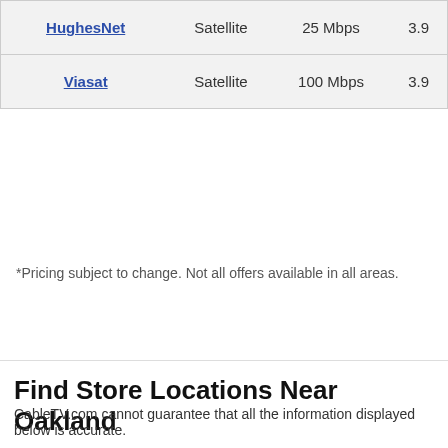| Provider | Type | Speed | Rating |
| --- | --- | --- | --- |
| HughesNet | Satellite | 25 Mbps | 3.9 |
| Viasat | Satellite | 100 Mbps | 3.9 |
*Pricing subject to change. Not all offers available in all areas.
Find Store Locations Near Oakland
CableTV.com cannot guarantee that all the information displayed below is accurate.